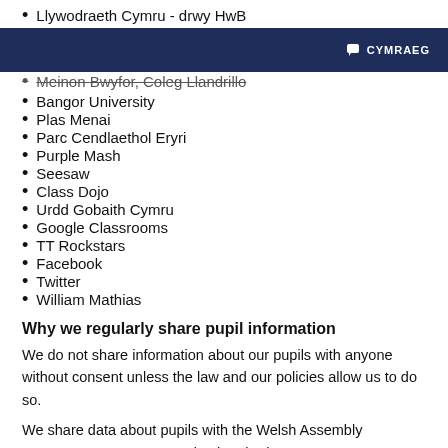Llywodraeth Cymru - drwy HwB
CYMRAEG
Meinon Bwyfor, Coleg Llandrillo
Bangor University
Plas Menai
Parc Cendlaethol Eryri
Purple Mash
Seesaw
Class Dojo
Urdd Gobaith Cymru
Google Classrooms
TT Rockstars
Facebook
Twitter
William Mathias
Why we regularly share pupil information
We do not share information about our pupils with anyone without consent unless the law and our policies allow us to do so.
We share data about pupils with the Welsh Assembly Government on a statuory basis. Sharing